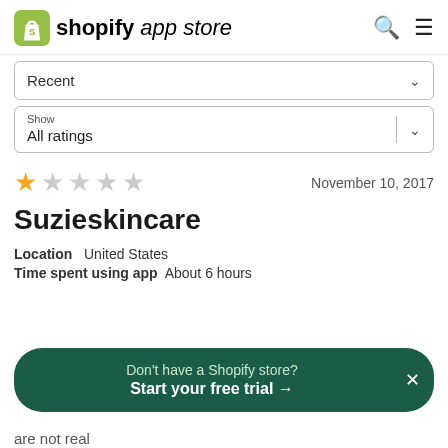shopify app store
Recent
Show
All ratings
[Figure (other): 1 out of 5 star rating — one filled gold star and four empty gray stars]
November 10, 2017
Suzieskincare
Location   United States
Time spent using app   About 6 hours
Don't have a Shopify store? Start your free trial →
are not real